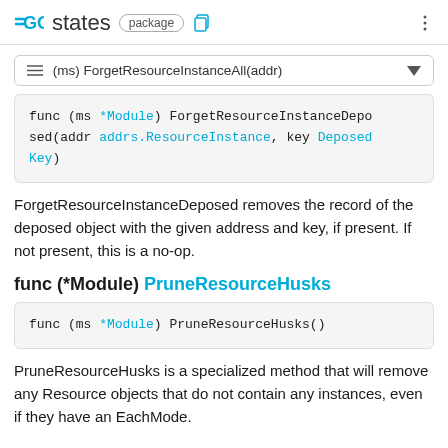GO states package
≡ (ms) ForgetResourceInstanceAll(addr)
func (ms *Module) ForgetResourceInstanceDeposed(addr addrs.ResourceInstance, key DeposedKey)
ForgetResourceInstanceDeposed removes the record of the deposed object with the given address and key, if present. If not present, this is a no-op.
func (*Module) PruneResourceHusks
func (ms *Module) PruneResourceHusks()
PruneResourceHusks is a specialized method that will remove any Resource objects that do not contain any instances, even if they have an EachMode.